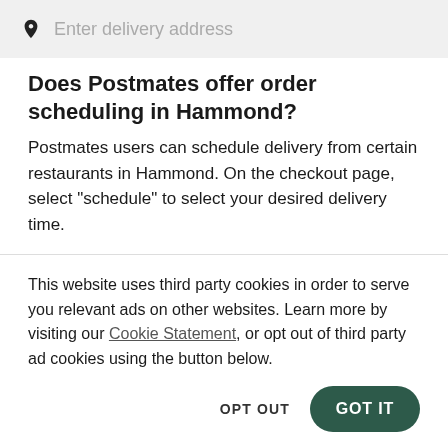[Figure (other): Search bar with location pin icon and placeholder text 'Enter delivery address']
Does Postmates offer order scheduling in Hammond?
Postmates users can schedule delivery from certain restaurants in Hammond. On the checkout page, select “schedule” to select your desired delivery time.
Nearby cities
This website uses third party cookies in order to serve you relevant ads on other websites. Learn more by visiting our Cookie Statement, or opt out of third party ad cookies using the button below.